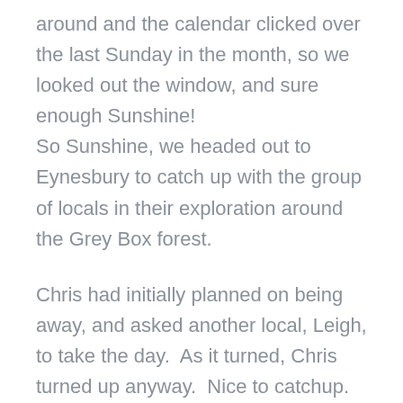around and the calendar clicked over the last Sunday in the month, so we looked out the window, and sure enough Sunshine! So Sunshine, we headed out to Eynesbury to catch up with the group of locals in their exploration around the Grey Box forest.
Chris had initially planned on being away, and asked another local, Leigh, to take the day.  As it turned, Chris turned up anyway.  Nice to catchup.
The sunshine added to the recent rain made the open areas around the housing estates